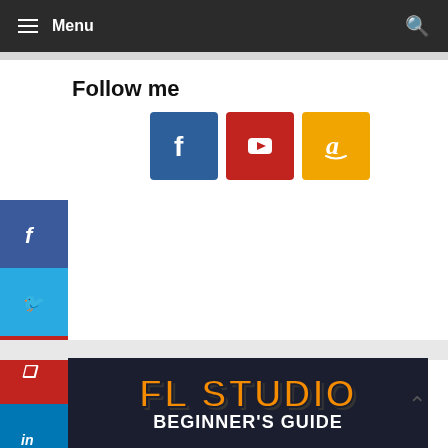Menu
Follow me
[Figure (illustration): Social media icons: Facebook (blue), YouTube (red), Amazon (orange/yellow)]
[Figure (illustration): Side social share bar with Facebook, Twitter, Pinterest, LinkedIn buttons]
[Figure (illustration): FL Studio Beginner's Guide book cover with dark background, orange 'FL STUDIO' text and white 'BEGINNER'S GUIDE' text]